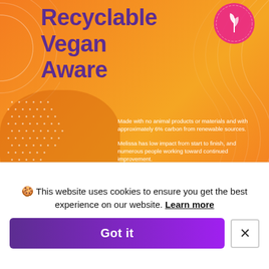[Figure (infographic): Orange background infographic section with bold purple text reading 'Recyclable Vegan Aware', decorative circular line art, a dotted pattern bottom-left, a pink circular badge with leaf/plant icon top-right, wavy lines, and white body text about vegan/sustainable product claims.]
Made with no animal products or materials and with approximately 6% carbon from renewable sources.
Melissa has low impact from start to finish, and numerous people working toward continued improvement.
[Figure (infographic): Yellow background section with purple outline icons representing sustainability concepts: vegan leaf face, globe with heart, recycling/star symbol, heart with eye, shoe with 30% label, CO2 cloud.]
🍪 This website uses cookies to ensure you get the best experience on our website. Learn more
Got it